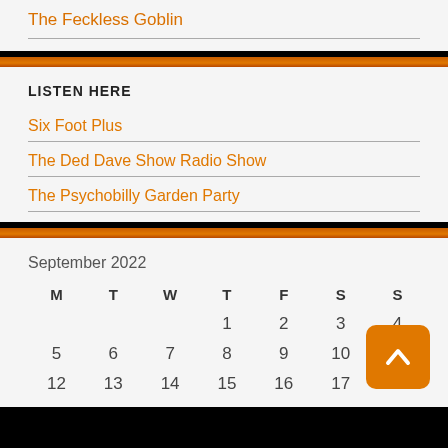The Feckless Goblin
LISTEN HERE
Six Foot Plus
The Ded Dave Show Radio Show
The Psychobilly Garden Party
| M | T | W | T | F | S | S |
| --- | --- | --- | --- | --- | --- | --- |
|  |  |  | 1 | 2 | 3 | 4 |
| 5 | 6 | 7 | 8 | 9 | 10 |  |
| 12 | 13 | 14 | 15 | 16 | 17 | 18 |